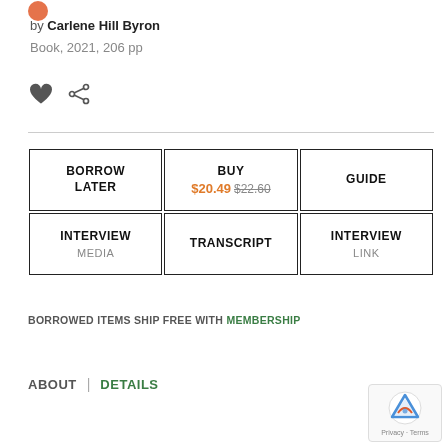[Figure (logo): Small red/orange logo icon at top left]
by Carlene Hill Byron
Book, 2021, 206 pp
[Figure (illustration): Heart icon (dark gray filled) and share icon]
| BORROW LATER | BUY $20.49 $22.60 | GUIDE |
| INTERVIEW MEDIA | TRANSCRIPT | INTERVIEW LINK |
BORROWED ITEMS SHIP FREE WITH MEMBERSHIP
ABOUT  |  DETAILS